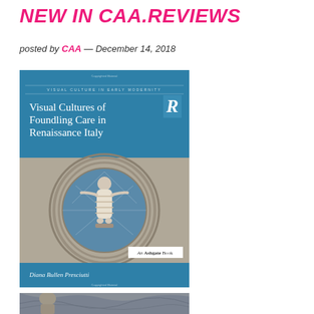NEW IN CAA.REVIEWS
posted by CAA — December 14, 2018
[Figure (photo): Book cover of 'Visual Cultures of Foundling Care in Renaissance Italy' by Diana Bullen Presciutti, published as an Ashgate Book in the Routledge Visual Culture in Early Modernity series. Blue cover with a medallion image of a swaddled infant (foundling).]
[Figure (photo): Photograph of a stone architectural sculpture or relief, showing a carved figure against Gothic vaulted stonework.]